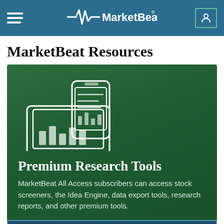MarketBeat
MarketBeat Resources
[Figure (illustration): White line-art icon of a laptop with a bar chart and a smartphone with a list/chart overlay, on a dark green background.]
Premium Research Tools
MarketBeat All Access subscribers can access stock screeners, the Idea Engine, data export tools, research reports, and other premium tools.
DISCOVER ALL ACCESS >